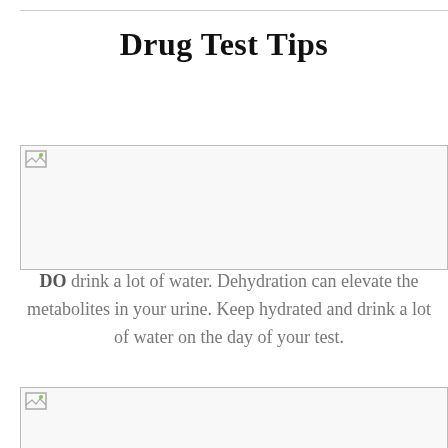Drug Test Tips
[Figure (photo): Image placeholder (broken image icon) with border — first image]
DO drink a lot of water. Dehydration can elevate the metabolites in your urine. Keep hydrated and drink a lot of water on the day of your test.
[Figure (photo): Image placeholder (broken image icon) with border — second image]